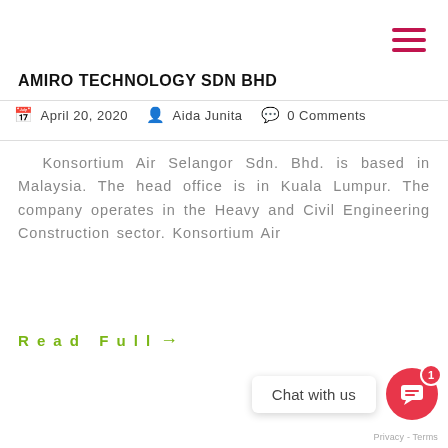AMIRO TECHNOLOGY SDN BHD
April 20, 2020   Aida Junita   0 Comments
Konsortium Air Selangor Sdn. Bhd. is based in Malaysia. The head office is in Kuala Lumpur. The company operates in the Heavy and Civil Engineering Construction sector. Konsortium Air
Read Full →
Chat with us